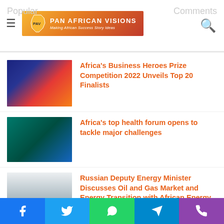Pan African Visions - Making African Success Story Ideas
Africa’s Business Heroes Prize Competition 2022 Unveils Top 20 Finalists
Africa’s top health forum opens to tackle major challenges
Russian Deputy Energy Minister Discusses Oil and Gas Market and Energy Transition with African Energy Chamber
Nollywood director’s new movie gets widespread UK release